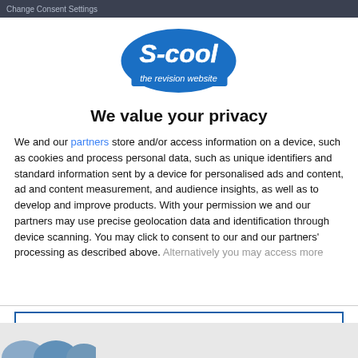Change Consent Settings
[Figure (logo): S-cool the revision website logo - blue cursive text with white outline on blue badge shape, subtitle reads 'the revision website']
We value your privacy
We and our partners store and/or access information on a device, such as cookies and process personal data, such as unique identifiers and standard information sent by a device for personalised ads and content, ad and content measurement, and audience insights, as well as to develop and improve products. With your permission we and our partners may use precise geolocation data and identification through device scanning. You may click to consent to our and our partners' processing as described above. Alternatively you may access more
AGREE
MORE OPTIONS